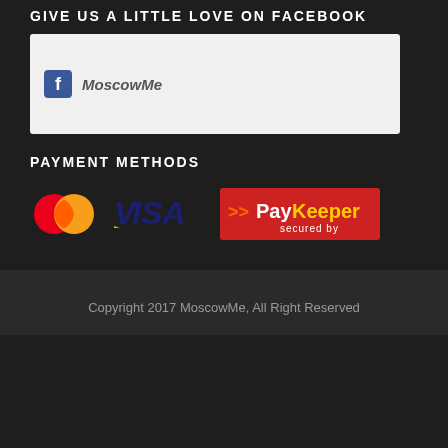GIVE US A LITTLE LOVE ON FACEBOOK
[Figure (screenshot): Facebook widget box with MoscowMe page name]
PAYMENT METHODS
[Figure (logo): Mastercard, Visa, and PayKeeper secured by logos]
Copyright 2017 MoscowMe, All Right Reserved